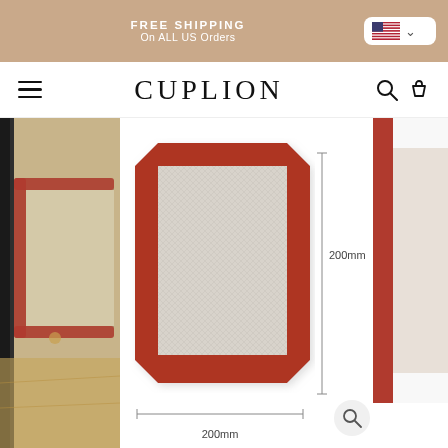FREE SHIPPING
On ALL US Orders
CUPLION
[Figure (photo): E-commerce website screenshot showing CUPLION brand silicone baking mat product page. Left side shows a partial photo of the mat in use. Center shows a top-down product photo of a square silicone baking mat with red border and white mesh center, with dimension annotations showing 200mm width and 200mm height. Right side shows partial view of another product image. A magnifying glass zoom icon appears at bottom right.]